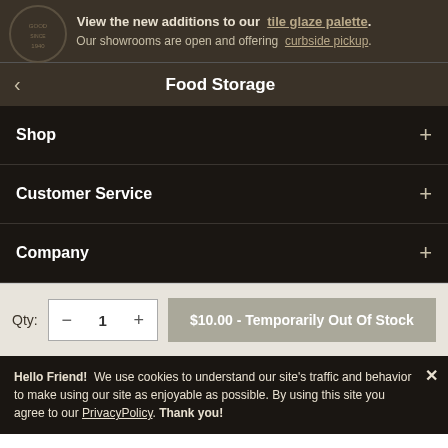View the new additions to our tile glaze palette. Our showrooms are open and offering curbside pickup.
Food Storage
Shop
Customer Service
Company
Qty: - 1 + $10.00 - Temporarily Out Of Stock
Hello Friend!  We use cookies to understand our site's traffic and behavior to make using our site as enjoyable as possible. By using this site you agree to our PrivacyPolicy. Thank you!